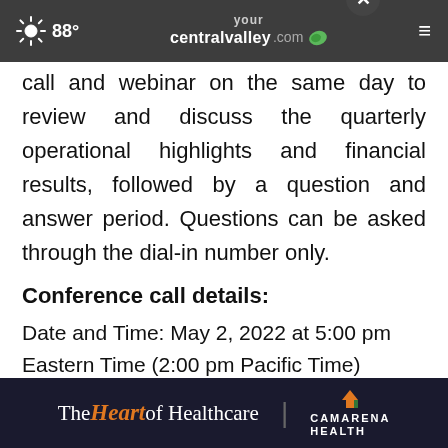88° yourcentralvalley.com
call and webinar on the same day to review and discuss the quarterly operational highlights and financial results, followed by a question and answer period. Questions can be asked through the dial-in number only.
Conference call details:
Date and Time: May 2, 2022 at 5:00 pm Eastern Time (2:00 pm Pacific Time)
Toll-Free Dial-In Number: (833) 562-01...
Inter...09
[Figure (infographic): Advertisement banner: The Heart of Healthcare | Camarena Health]